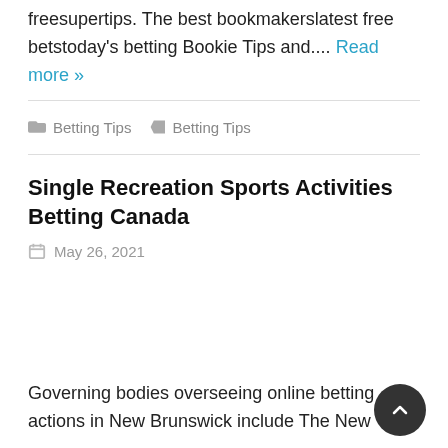freesupertips. The best bookmakerslatest free betstoday's betting Bookie Tips and.... Read more »
🗂 Betting Tips  🏷 Betting Tips
Single Recreation Sports Activities Betting Canada
📅 May 26, 2021
Governing bodies overseeing online betting actions in New Brunswick include The New